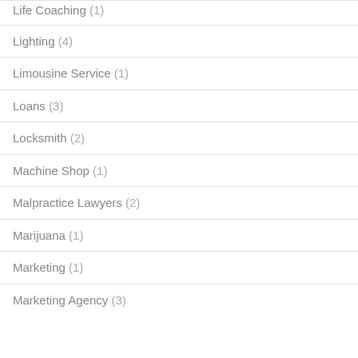Life Coaching (1)
Lighting (4)
Limousine Service (1)
Loans (3)
Locksmith (2)
Machine Shop (1)
Malpractice Lawyers (2)
Marijuana (1)
Marketing (1)
Marketing Agency (3)